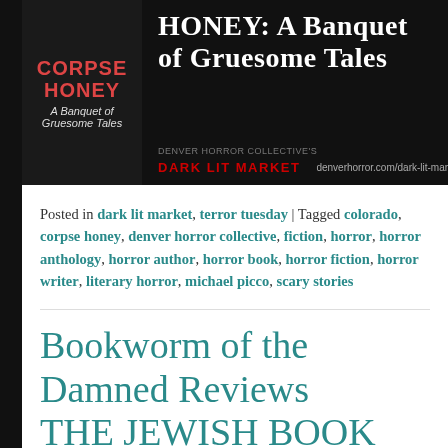[Figure (illustration): Book promotion banner for 'Corpse Honey: A Banquet of Gruesome Tales' on dark background with book cover on left and title text on right, Denver Horror Collective Dark Lit Market branding at bottom with URL denverhorror.com/dark-lit-market/]
Posted in dark lit market, terror tuesday | Tagged colorado, corpse honey, denver horror collective, fiction, horror, horror anthology, horror author, horror book, horror fiction, horror writer, literary horror, michael picco, scary stories
Bookworm of the Damned Reviews THE JEWISH BOOK